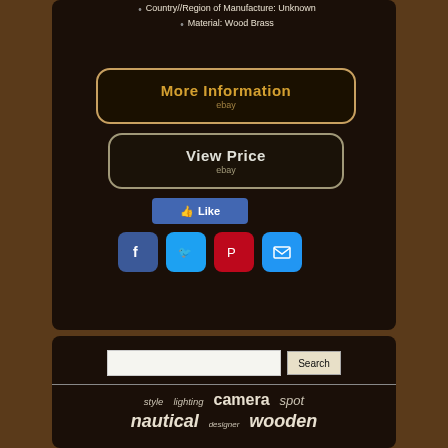Country//Region of Manufacture: Unknown
Material: Wood Brass
[Figure (screenshot): More Information button - dark background with gold/orange text and rounded border]
[Figure (screenshot): View Price button - dark background with light text and rounded border, ebay label]
[Figure (screenshot): Facebook Like button - blue rounded rectangle with thumbs up icon]
[Figure (screenshot): Social media share icons: Facebook, Twitter, Pinterest, Email]
[Figure (screenshot): Search bar with text input and Search button]
style  lighting  camera  spot  nautical  designer  wooden